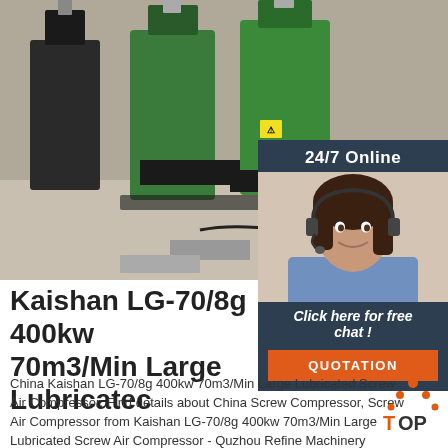[Figure (photo): Row of large green and black industrial screw air compressors on a factory floor]
[Figure (photo): 24/7 online customer service panel with agent photo, 'Click here for free chat!' text, and QUOTATION button on dark navy background]
Kaishan LG-70/8g 400kw 70m3/Min Large Lubricated
China Kaishan LG-70/8g 400kw 70m3/Min Large Lubricated Screw Air Compressor, Find details about China Screw Compressor, Screw Air Compressor from Kaishan LG-70/8g 400kw 70m3/Min Large Lubricated Screw Air Compressor - Quzhou Refine Machinery Equipment Co., Ltd.